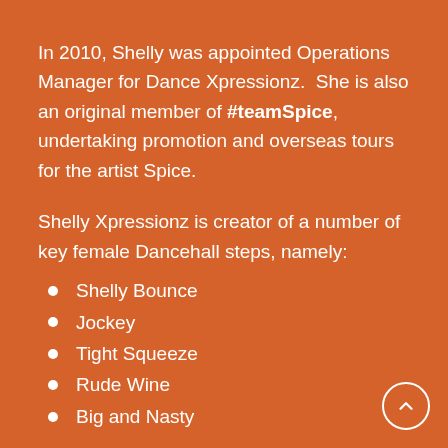In 2010, Shelly was appointed Operations Manager for Dance Xpressionz.  She is also an original member of #teamSpice, undertaking promotion and overseas tours for the artist Spice.
Shelly Xpressionz is creator of a number of key female Dancehall steps, namely:
Shelly Bounce
Jockey
Tight Squeeze
Rude Wine
Big and Nasty